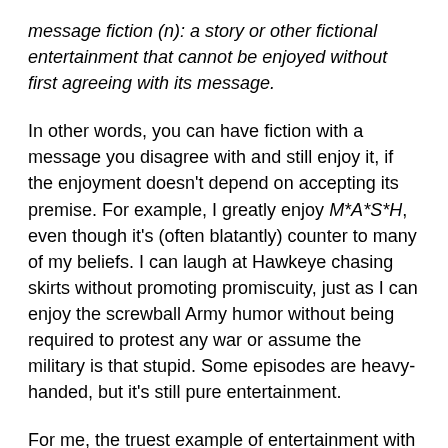message fiction (n): a story or other fictional entertainment that cannot be enjoyed without first agreeing with its message.
In other words, you can have fiction with a message you disagree with and still enjoy it, if the enjoyment doesn't depend on accepting its premise. For example, I greatly enjoy M*A*S*H, even though it's (often blatantly) counter to many of my beliefs. I can laugh at Hawkeye chasing skirts without promoting promiscuity, just as I can enjoy the screwball Army humor without being required to protest any war or assume the military is that stupid. Some episodes are heavy-handed, but it's still pure entertainment.
For me, the truest example of entertainment with strong secondary messaging is still, and probably always will be,